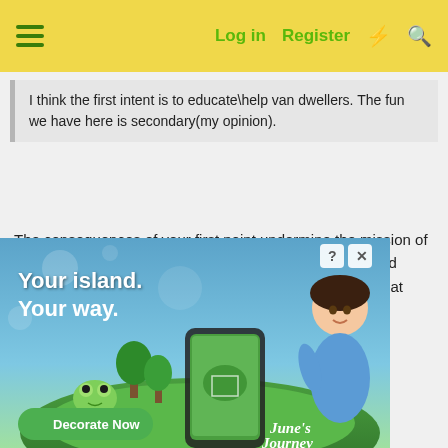≡  Log in  Register  ⚡ 🔍
I think the first intent is to educate\help van dwellers. The fun we have here is secondary(my opinion).
The consequences of your first point undermine the mission of the second point. People have apparently already left and started new forums, I didn't know that, but it is a signal that confirms my experience.
Consider this thread a warning. You can say it's just my opinion, but obviously it's not.
I have no investment in this forum and no attachment and
[Figure (screenshot): Advertisement for June's Journey game: 'Your island. Your way.' with Decorate Now button, showing animated island scene and female character]